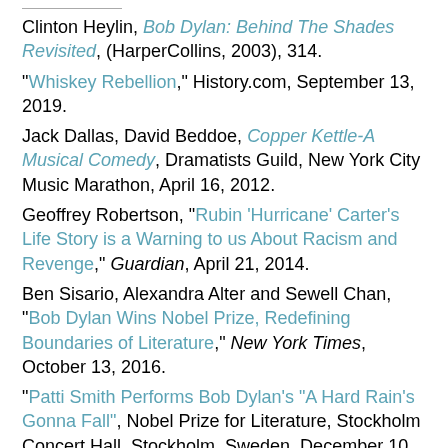Clinton Heylin, Bob Dylan: Behind The Shades Revisited, (HarperCollins, 2003), 314.
"Whiskey Rebellion," History.com, September 13, 2019.
Jack Dallas, David Beddoe, Copper Kettle-A Musical Comedy, Dramatists Guild, New York City Music Marathon, April 16, 2012.
Geoffrey Robertson, "Rubin 'Hurricane' Carter's Life Story is a Warning to us About Racism and Revenge," Guardian, April 21, 2014.
Ben Sisario, Alexandra Alter and Sewell Chan, "Bob Dylan Wins Nobel Prize, Redefining Boundaries of Literature," New York Times, October 13, 2016.
"Patti Smith Performs Bob Dylan's "A Hard Rain's Gonna Fall", Nobel Prize for Literature, Stockholm Concert Hall, Stockholm, Sweden, December 10, 2016.
...